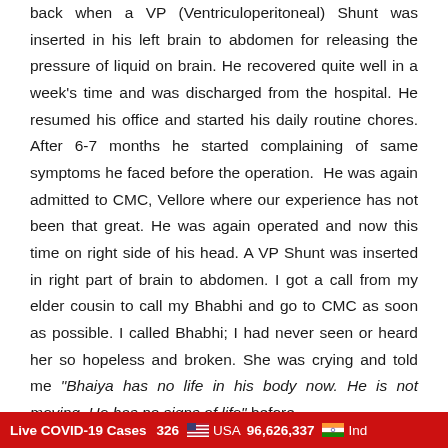back when a VP (Ventriculoperitoneal) Shunt was inserted in his left brain to abdomen for releasing the pressure of liquid on brain. He recovered quite well in a week's time and was discharged from the hospital. He resumed his office and started his daily routine chores. After 6-7 months he started complaining of same symptoms he faced before the operation. He was again admitted to CMC, Vellore where our experience has not been that great. He was again operated and now this time on right side of his head. A VP Shunt was inserted in right part of brain to abdomen. I got a call from my elder cousin to call my Bhabhi and go to CMC as soon as possible. I called Bhabhi; I had never seen or heard her so hopeless and broken. She was crying and told me “Bhaiya has no life in his body now. He is not moving. He has no signs of life” before
Live COVID-19 Cases   326   USA 96,626,337   Ind